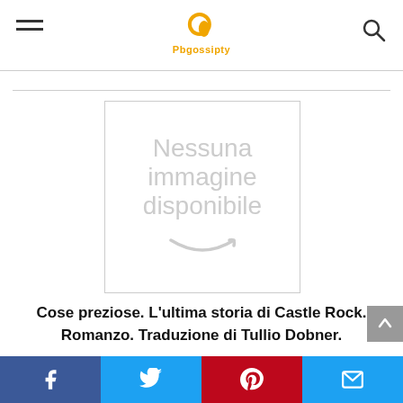Pbgossipty
[Figure (other): Placeholder image with text 'Nessuna immagine disponibile' and Amazon smile logo]
Cose preziose. L'ultima storia di Castle Rock. Romanzo. Traduzione di Tullio Dobner.
Social sharing bar: Facebook, Twitter, Pinterest, Email